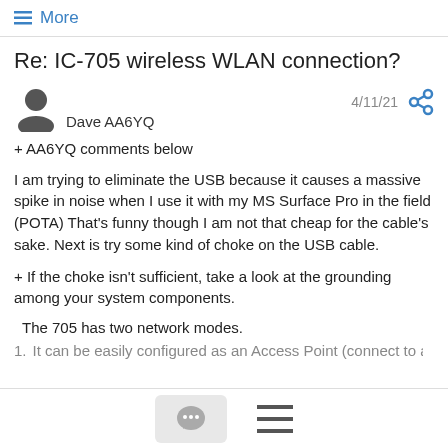≡ More
Re: IC-705 wireless WLAN connection?
Dave AA6YQ  4/11/21
+ AA6YQ comments below
I am trying to eliminate the USB because it causes a massive spike in noise when I use it with my MS Surface Pro in the field (POTA) That's funny though I am not that cheap for the cable's sake. Next is try some kind of choke on the USB cable.
+ If the choke isn't sufficient, take a look at the grounding among your system components.
The 705 has two network modes.
1.   It can be easily configured as an Access Point (connect to a